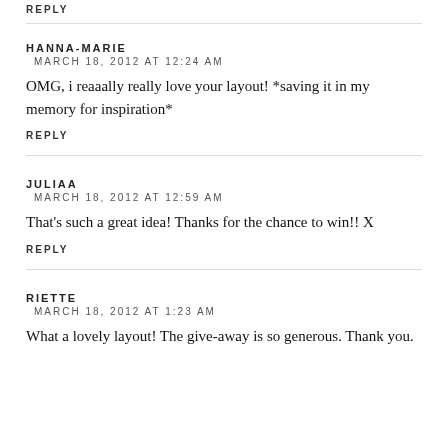REPLY
HANNA-MARIE
MARCH 18, 2012 AT 12:24 AM
OMG, i reaaally really love your layout! *saving it in my memory for inspiration*
REPLY
JULIAA
MARCH 18, 2012 AT 12:59 AM
That's such a great idea! Thanks for the chance to win!! X
REPLY
RIETTE
MARCH 18, 2012 AT 1:23 AM
What a lovely layout! The give-away is so generous. Thank you.